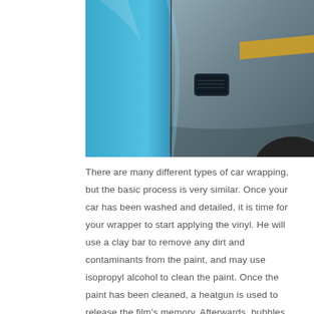[Figure (photo): Close-up photo of a car being vinyl wrapped. The left portion shows a bright blue vinyl wrap being applied, while the right portion shows the original silver/grey car body with a vent detail and a yellow stripe visible.]
There are many different types of car wrapping, but the basic process is very similar. Once your car has been washed and detailed, it is time for your wrapper to start applying the vinyl. He will use a clay bar to remove any dirt and contaminants from the paint, and may use isopropyl alcohol to clean the paint. Once the paint has been cleaned, a heatgun is used to release the film's memory. Afterwards, bubbles can be removed using a pin, sharp edge, or even a finger. The best way to ensure that